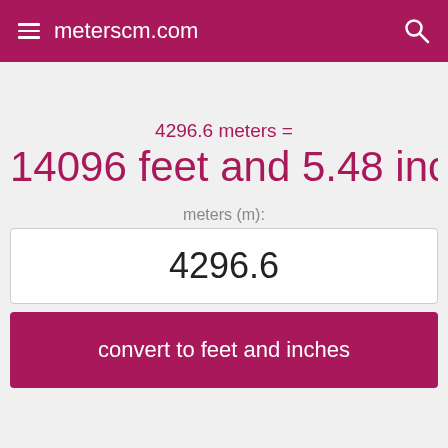meterscm.com
4296.6 meters =
14096 feet and 5.48 inches
meters (m):
4296.6
convert to feet and inches